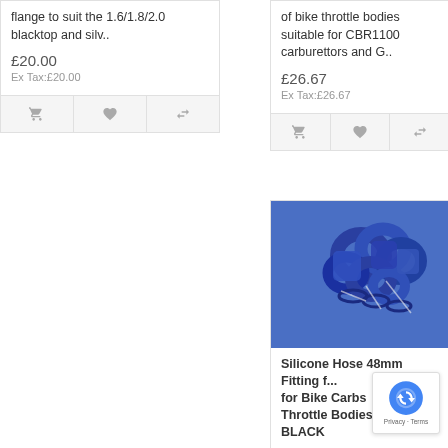flange to suit the 1.6/1.8/2.0 blacktop and silv..
£20.00
Ex Tax:£20.00
of bike throttle bodies suitable for CBR1100 carburettors and G..
£26.67
Ex Tax:£26.67
[Figure (photo): Blue silicone hose fittings/rings scattered on a blue background]
Silicone Hose 48mm Fitting f... for Bike Carbs Throttle Bodies BLACK